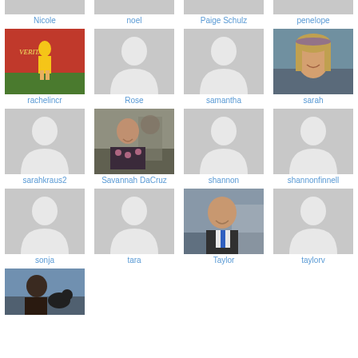[Figure (photo): Grid of user profile avatars with names. Row 1 (partial, top cropped): Nicole, noel, Paige Schulz, penelope. Row 2: rachelincr (photo of girl in yellow dress), Rose (silhouette), samantha (silhouette), sarah (photo of smiling girl). Row 3: sarahkraus2 (silhouette), Savannah DaCruz (photo of girl), shannon (silhouette), shannonfinnell (silhouette). Row 4: sonja (silhouette), tara (silhouette), Taylor (photo of young man in suit), taylorv (silhouette). Row 5 (partial): one photo of person with dog (bottom).]